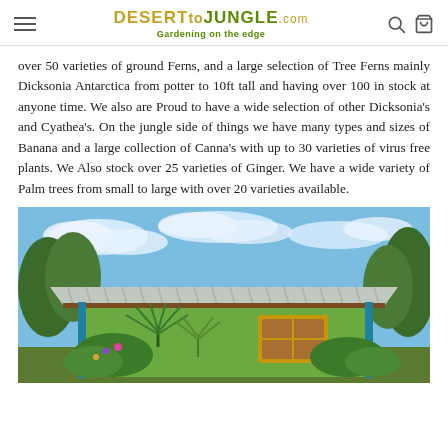DESERT to JUNGLE .com — Gardening on the edge
over 50 varieties of ground Ferns, and a large selection of Tree Ferns mainly Dicksonia Antarctica from potter to 10ft tall and having over 100 in stock at anyone time. We also are Proud to have a wide selection of other Dicksonia's and Cyathea's. On the jungle side of things we have many types and sizes of Banana and a large collection of Canna's with up to 30 varieties of virus free plants. We Also stock over 25 varieties of Ginger. We have a wide variety of Palm trees from small to large with over 20 varieties available.
[Figure (photo): Exterior photo of a garden nursery building with a corrugated metal roof, green walls, and surrounded by lush tropical plants including palms, under a partly cloudy blue sky.]